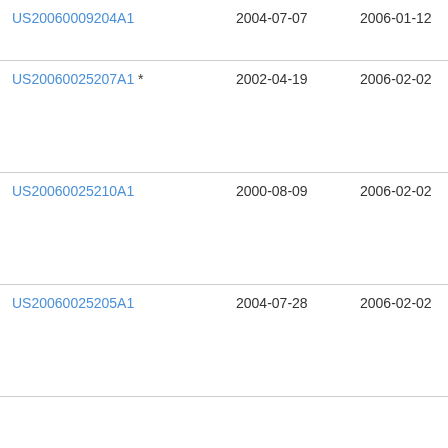| Patent ID | Date 1 | Date 2 | Info |
| --- | --- | --- | --- |
| US20060009204A1 | 2004-07-07 | 2006-01-12 | Sc
T |
| US20060025207A1 * | 2002-04-19 | 2006-02-02 | Wa |
| US20060025210A1 | 2000-08-09 | 2006-02-02 | Joh |
| US20060025205A1 | 2004-07-28 | 2006-02-02 | Ca |